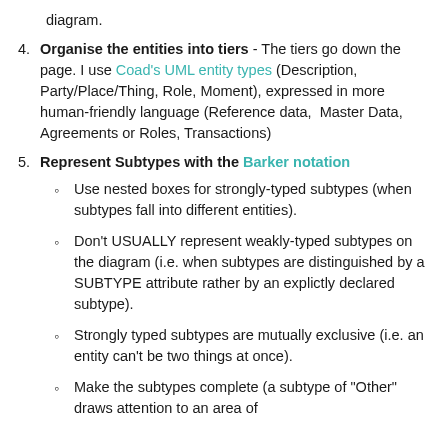diagram.
4. Organise the entities into tiers - The tiers go down the page. I use Coad's UML entity types (Description, Party/Place/Thing, Role, Moment), expressed in more human-friendly language (Reference data, Master Data, Agreements or Roles, Transactions)
5. Represent Subtypes with the Barker notation
Use nested boxes for strongly-typed subtypes (when subtypes fall into different entities).
Don't USUALLY represent weakly-typed subtypes on the diagram (i.e. when subtypes are distinguished by a SUBTYPE attribute rather by an explictly declared subtype).
Strongly typed subtypes are mutually exclusive (i.e. an entity can't be two things at once).
Make the subtypes complete (a subtype of "Other" draws attention to an area of